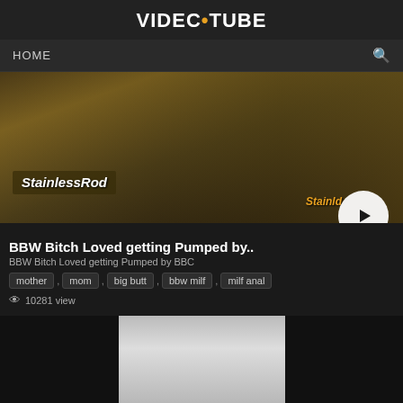VIDEO•TUBE
HOME
[Figure (screenshot): Video thumbnail showing StainlessRod watermark with play button overlay]
BBW Bitch Loved getting Pumped by..
BBW Bitch Loved getting Pumped by BBC
mother , mom , big butt , bbw milf , milf anal
10281 view
[Figure (screenshot): Three thumbnail previews in a row; center shows person in doorway; right has duration badge 8:50]